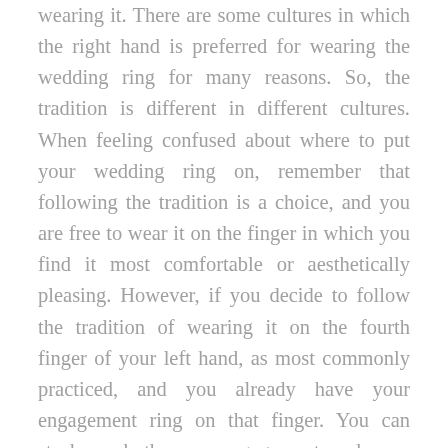wearing it. There are some cultures in which the right hand is preferred for wearing the wedding ring for many reasons. So, the tradition is different in different cultures. When feeling confused about where to put your wedding ring on, remember that following the tradition is a choice, and you are free to wear it on the finger in which you find it most comfortable or aesthetically pleasing. However, if you decide to follow the tradition of wearing it on the fourth finger of your left hand, as most commonly practiced, and you already have your engagement ring on that finger. You can stack up both your engagement and your wedding ring on that exact finger. If you are not comfortable or do not like how it looks, you can wear your engagement ring in the right hand